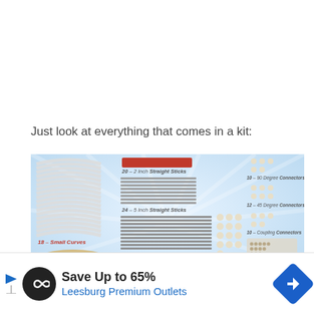Just look at everything that comes in a kit:
[Figure (infographic): Kit contents infographic showing: 18 Small Curves (white curved pieces), 10 Medium Curves (gold/beige curved pieces), 20 2-inch Straight Sticks (red), 24 5-inch Straight Sticks (gray), 25 12-inch Straight Sticks (gray), plus connectors: 35 6-Way Connectors, 20 3-Way Connectors, 10 90 Degree Connectors, 12 45 Degree Connectors, 10 Coupling Connectors, 130 Fabric Clips]
[Figure (infographic): Advertisement banner: Save Up to 65% Leesburg Premium Outlets with infinity loop logo and directional arrow sign]